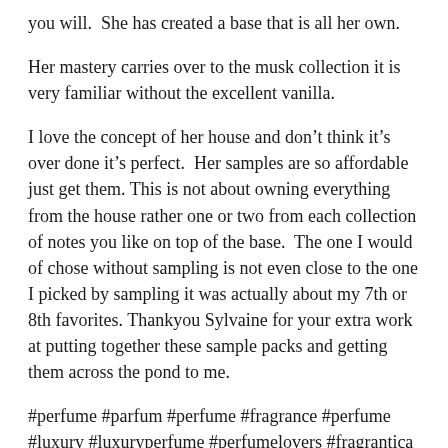you will.  She has created a base that is all her own.
Her mastery carries over to the musk collection it is very familiar without the excellent vanilla.
I love the concept of her house and don’t think it’s over done it’s perfect.  Her samples are so affordable just get them. This is not about owning everything from the house rather one or two from each collection of notes you like on top of the base.  The one I would of chose without sampling is not even close to the one I picked by sampling it was actually about my 7th or 8th favorites.  Thankyou Sylvaine for your extra work at putting together these sample packs and getting them across the pond to me.
#perfume #parfum #perfume #fragrance #perfume #luxury #luxuryperfume #perfumelovers #fragrantica #basenotes #fragrancecollection #sotn #scentoftheday #nicheperfume #fragrancelover #nicheperfumes #fragcomm #instaperfume #perfumecollection #eaudeparfum #nicheperfumery #smellgood #sotd #naturalperfumery